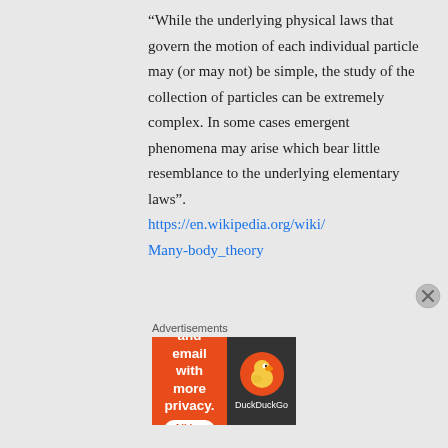“While the underlying physical laws that govern the motion of each individual particle may (or may not) be simple, the study of the collection of particles can be extremely complex. In some cases emergent phenomena may arise which bear little resemblance to the underlying elementary laws”.
https://en.wikipedia.org/wiki/Many-body_theory
Advertisements
[Figure (other): DuckDuckGo advertisement banner with orange left panel reading 'Search, browse, and email with more privacy. All in One Free App' and dark right panel with DuckDuckGo duck logo]